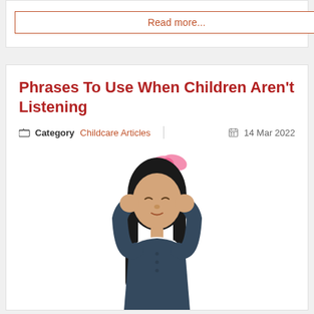Read more...
Phrases To Use When Children Aren't Listening
Category  Childcare Articles  |  14 Mar 2022
[Figure (photo): A young girl with a pink bow in her hair, wearing a navy dress with a white collar, covering her ears with both hands and squinting her eyes shut, suggesting she is blocking out sound.]